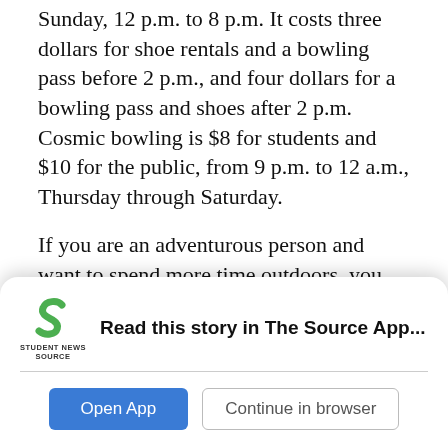Sunday, 12 p.m. to 8 p.m. It costs three dollars for shoe rentals and a bowling pass before 2 p.m., and four dollars for a bowling pass and shoes after 2 p.m. Cosmic bowling is $8 for students and $10 for the public, from 9 p.m. to 12 a.m., Thursday through Saturday.
If you are an adventurous person and want to spend more time outdoors, you can also join the Adventure Leadership Institute (ALI).
“The Adventure Leadership Institute (ALI) is a co-curriculum program and service for
[Figure (logo): Student News Source logo — a green stylized 'S' shape with 'STUDENT NEWS SOURCE' text below]
Read this story in The Source App...
Open App
Continue in browser